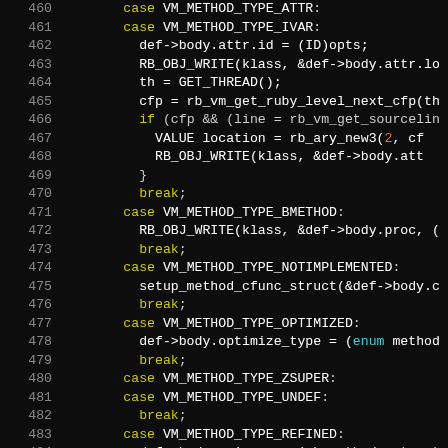[Figure (screenshot): Source code screenshot showing C code with syntax highlighting on black background, lines 460-490, featuring switch-case statements for VM_METHOD_TYPE variants including IVAR, BMETHOD, NOTIMPLEMENTED, OPTIMIZED, ZSUPER, UNDEF, REFINED, and default cases.]